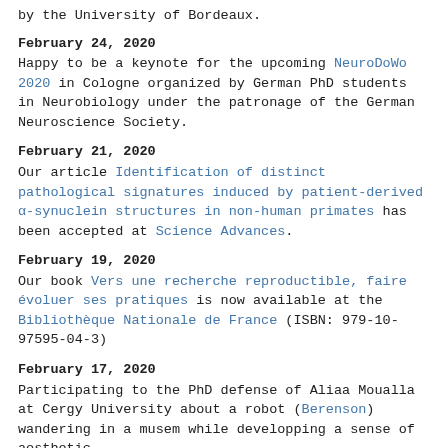by the University of Bordeaux.
February 24, 2020
Happy to be a keynote for the upcoming NeuroDoWo 2020 in Cologne organized by German PhD students in Neurobiology under the patronage of the German Neuroscience Society.
February 21, 2020
Our article Identification of distinct pathological signatures induced by patient-derived α-synuclein structures in non-human primates has been accepted at Science Advances.
February 19, 2020
Our book Vers une recherche reproductible, faire évoluer ses pratiques is now available at the Bibliothèque Nationale de France (ISBN: 979-10-97595-04-3)
February 17, 2020
Participating to the PhD defense of Aliaa Moualla at Cergy University about a robot (Berenson) wandering in a musem while developping a sense of aesthetic.
February 6 & 7, 2020